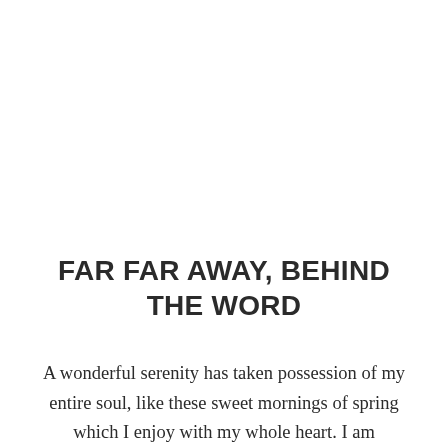FAR FAR AWAY, BEHIND THE WORD
A wonderful serenity has taken possession of my entire soul, like these sweet mornings of spring which I enjoy with my whole heart. I am